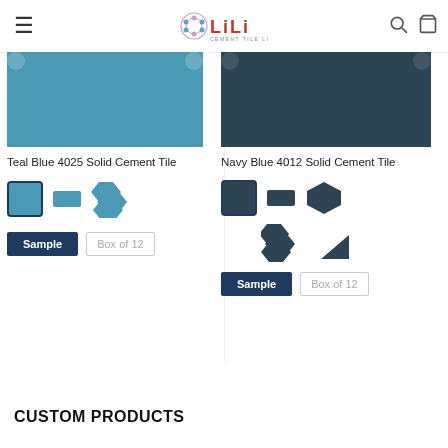LiLi Cement Tile Line
[Figure (photo): Teal Blue solid cement tile swatch image]
Teal Blue 4025 Solid Cement Tile
[Figure (illustration): Tile shape selectors for Teal Blue: square (selected), rectangle, hexagon stacked]
[Figure (photo): Navy Blue solid cement tile swatch image]
Navy Blue 4012 Solid Cement Tile
[Figure (illustration): Tile shape selectors for Navy Blue: square (selected), rectangle, hexagon, stacked, wedge]
CUSTOM PRODUCTS